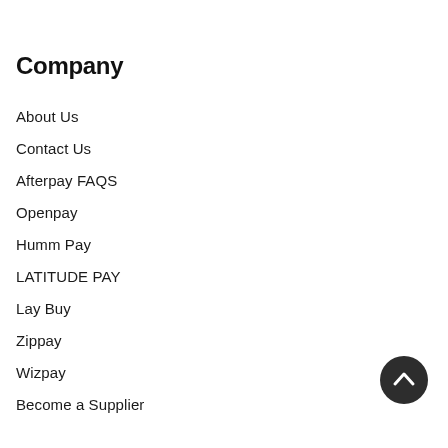Company
About Us
Contact Us
Afterpay FAQS
Openpay
Humm Pay
LATITUDE PAY
Lay Buy
Zippay
Wizpay
Become a Supplier
Become a Influencer
Brand